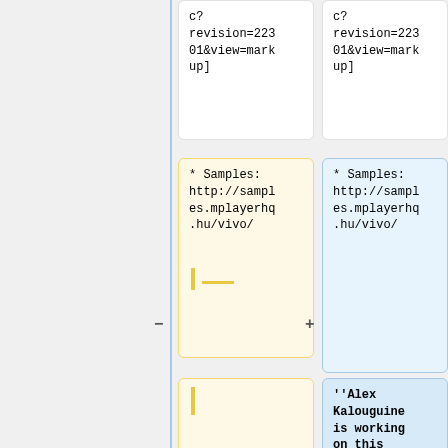c?
revision=22301&view=markup]
c?
revision=22301&view=markup]
* Samples: http://samples.mplayerhq.hu/vivo/
* Samples: http://samples.mplayerhq.hu/vivo/
''Alex Kalouguine is working on this task.''
===
IFF/8SVX 8-bit audio
===
IFF/8SVX 8-bit audio